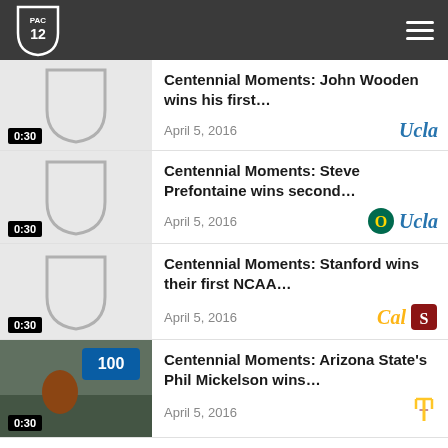PAC-12 navigation header
Centennial Moments: John Wooden wins his first…
April 5, 2016 | UCLA
0:30
Centennial Moments: Steve Prefontaine wins second…
April 5, 2016 | Oregon, UCLA
0:30
Centennial Moments: Stanford wins their first NCAA…
April 5, 2016 | Cal, Stanford
0:30
Centennial Moments: Arizona State's Phil Mickelson wins…
April 5, 2016 | Arizona State
0:30